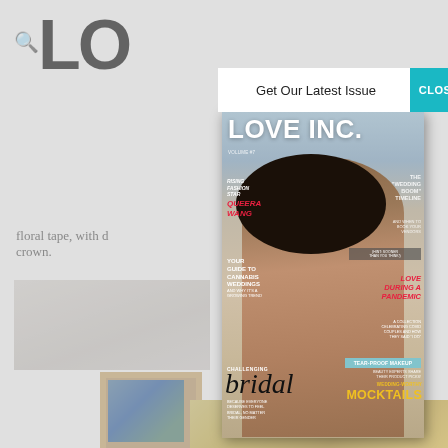[Figure (screenshot): Website screenshot showing LOVE INC. magazine logo in large bold black text at top, with a search icon on the left. Below is partial article text reading 'floral tape, with d... crown.' and a partial photo on the left side.]
Get Our Latest Issue
CLOSE
[Figure (photo): Magazine cover of LOVE INC. Volume 7 featuring a smiling Black man with a natural afro hairstyle and beard, wearing minimal clothing. The cover includes multiple article headlines about fashion, cannabis weddings, pandemic love stories, tear-proof makeup, and mocktails. The title 'LOVE INC.' appears at the top in large white text.]